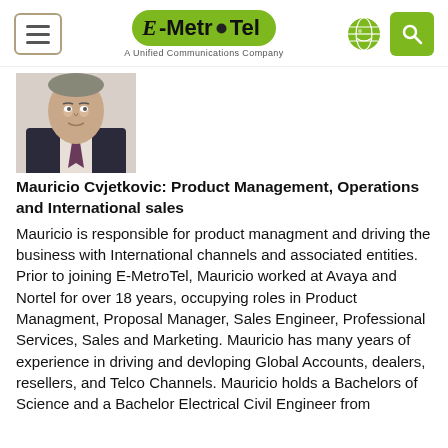E-MetroTel — A Unified Communications Company
[Figure (photo): Headshot photo of Mauricio Cvjetkovic, a man in a dark suit with a striped tie, partial view cut off at top]
Mauricio Cvjetkovic: Product Management, Operations and International sales
Mauricio is responsible for product managment and driving the business with International channels and associated entities.  Prior to joining E-MetroTel, Mauricio worked at Avaya and Nortel for over 18 years, occupying roles in Product Managment, Proposal Manager, Sales Engineer, Professional Services, Sales and Marketing. Mauricio has many years of experience in driving and devloping Global Accounts, dealers, resellers, and Telco Channels. Mauricio holds a Bachelors of Science and a Bachelor Electrical Civil Engineer from...